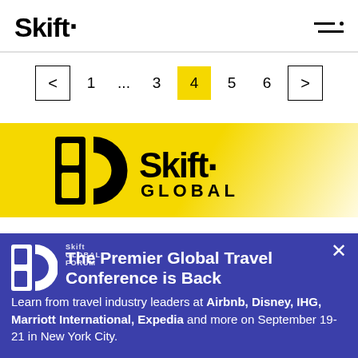Skift
< 1 ... 3 4 5 6 >
[Figure (logo): Skift Global Forum logo on yellow background]
[Figure (infographic): Blue ad banner: Skift Global Forum — The Premier Global Travel Conference is Back. Learn from travel industry leaders at Airbnb, Disney, IHG, Marriott International, Expedia and more on September 19-21 in New York City.]